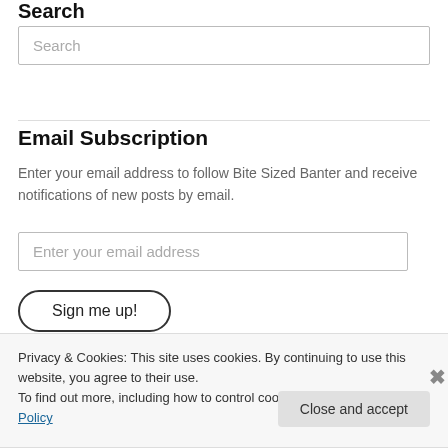Search
Search
Email Subscription
Enter your email address to follow Bite Sized Banter and receive notifications of new posts by email.
Enter your email address
Sign me up!
Privacy & Cookies: This site uses cookies. By continuing to use this website, you agree to their use.
To find out more, including how to control cookies, see here: Cookie Policy
Close and accept